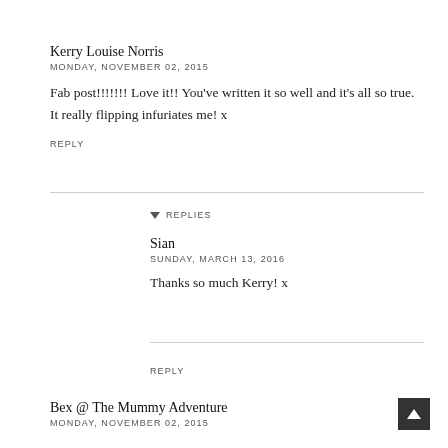Kerry Louise Norris
MONDAY, NOVEMBER 02, 2015
Fab post!!!!!!! Love it!! You've written it so well and it's all so true. It really flipping infuriates me! x
REPLY
▾ REPLIES
Sian
SUNDAY, MARCH 13, 2016
Thanks so much Kerry! x
REPLY
Bex @ The Mummy Adventure
MONDAY, NOVEMBER 02, 2015